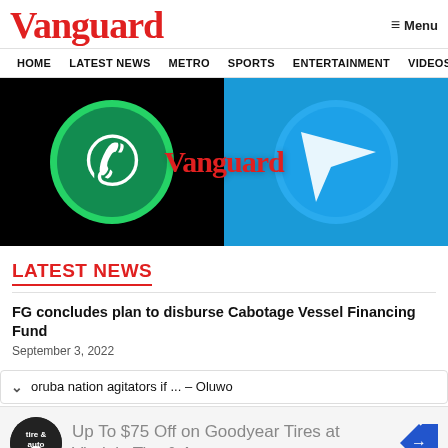Vanguard   Menu
HOME  LATEST NEWS  METRO  SPORTS  ENTERTAINMENT  VIDEOS
[Figure (photo): Hero image showing WhatsApp and Telegram app icons on dark and blue backgrounds, with Vanguard watermark text in red overlaid in the center]
LATEST NEWS
FG concludes plan to disburse Cabotage Vessel Financing Fund
September 3, 2022
oruba nation agitators if ... – Oluwo
Up To $75 Off on Goodyear Tires at Virginia Tire & Auto